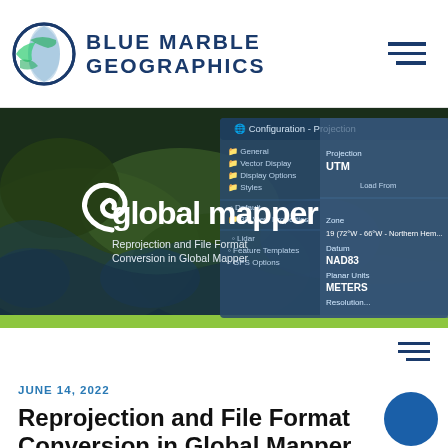BLUE MARBLE GEOGRAPHICS
[Figure (screenshot): Hero banner showing Global Mapper software with a satellite map background and a Configuration - Projection dialog, overlaid with the Global Mapper logo and text 'Reprojection and File Format Conversion in Global Mapper']
JUNE 14, 2022
Reprojection and File Format Conversion in Global Mapper